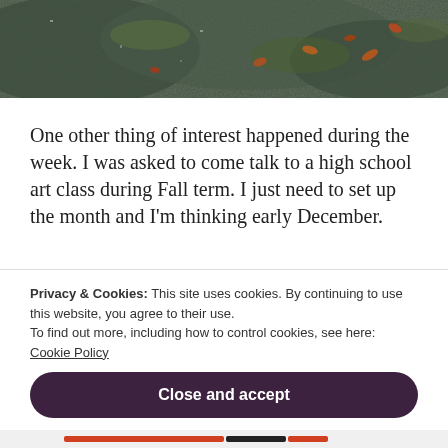[Figure (photo): Close-up photo of a dark rocky surface with moss and scattered orange/brown leaves]
One other thing of interest happened during the week. I was asked to come talk to a high school art class during Fall term. I just need to set up the month and I'm thinking early December.
Privacy & Cookies: This site uses cookies. By continuing to use this website, you agree to their use.
To find out more, including how to control cookies, see here: Cookie Policy
Close and accept